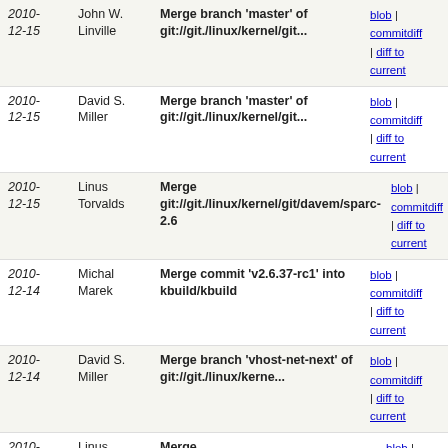| Date | Author | Commit Message | Links |
| --- | --- | --- | --- |
| 2010-12-15 | John W. Linville | Merge branch 'master' of git://git./linux/kernel/git... | blob | commitdiff | diff to current |
| 2010-12-15 | David S. Miller | Merge branch 'master' of git://git./linux/kernel/git... | blob | commitdiff | diff to current |
| 2010-12-15 | Linus Torvalds | Merge git://git./linux/kernel/git/davem/sparc-2.6 | blob | commitdiff | diff to current |
| 2010-12-14 | Michal Marek | Merge commit 'v2.6.37-rc1' into kbuild/kbuild | blob | commitdiff | diff to current |
| 2010-12-14 | David S. Miller | Merge branch 'vhost-net-next' of git://git./linux/kerne... | blob | commitdiff | diff to current |
| 2010-12-14 | Linus Torvalds | Merge git://git./linux/kernel/git/mason/btrfs-unstable | blob | commitdiff | diff to current |
| 2010-12-11 | David S. Miller | Merge /pub/scm/linux/kernel/git/davem/sparc-2.6 | blob | commitdiff | diff to current |
| 2010-12-10 | David S. Miller | Merge branch 'master' of git://git./linux/kernel/git... | blob | commitdiff | diff to current |
| 2010-12-10 | Jiri Kosina | Merge branch 'master' into upstream | blob | commitdiff | diff to current |
| 2010-12-09 | Tristan Ye | Ocfs2: Teach 'coherency=full' O_DIRECT writes to correc... | blob | commitdiff | diff to current |